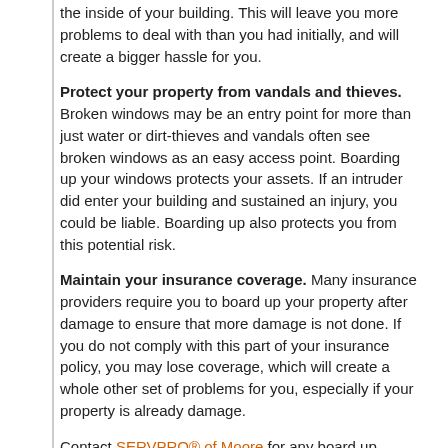the inside of your building. This will leave you more problems to deal with than you had initially, and will create a bigger hassle for you.
Protect your property from vandals and thieves. Broken windows may be an entry point for more than just water or dirt-thieves and vandals often see broken windows as an easy access point. Boarding up your windows protects your assets. If an intruder did enter your building and sustained an injury, you could be liable. Boarding up also protects you from this potential risk.
Maintain your insurance coverage. Many insurance providers require you to board up your property after damage to ensure that more damage is not done. If you do not comply with this part of your insurance policy, you may lose coverage, which will create a whole other set of problems for you, especially if your property is already damage.
Contact SERVPRO® of Moore for any board up services that you may require. Whatever your commercial property needs, SERVPRO of Moore is here to help!
What Makes Us